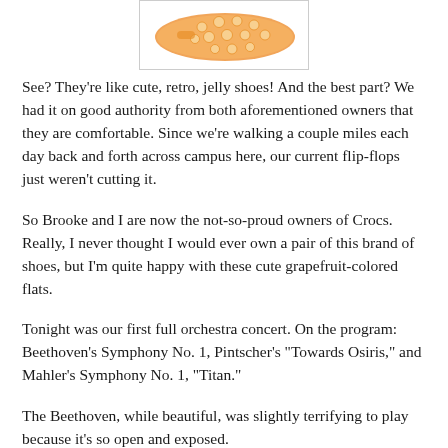[Figure (illustration): Orange/grapefruit-colored Crocs flat shoe, viewed from above, with decorative circular ventilation holes, shown inside a light-bordered box.]
See? They're like cute, retro, jelly shoes! And the best part? We had it on good authority from both aforementioned owners that they are comfortable. Since we're walking a couple miles each day back and forth across campus here, our current flip-flops just weren't cutting it.
So Brooke and I are now the not-so-proud owners of Crocs. Really, I never thought I would ever own a pair of this brand of shoes, but I'm quite happy with these cute grapefruit-colored flats.
Tonight was our first full orchestra concert. On the program: Beethoven's Symphony No. 1, Pintscher's "Towards Osiris," and Mahler's Symphony No. 1, "Titan."
The Beethoven, while beautiful, was slightly terrifying to play because it's so open and exposed.
The Pintscher was, well, crazy. (I mentioned it once before.)